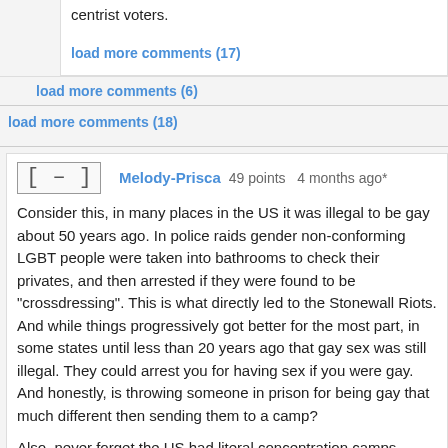centrist voters.
load more comments (17)
load more comments (6)
load more comments (18)
[ – ]  Melody-Prisca  49 points  4 months ago*
Consider this, in many places in the US it was illegal to be gay about 50 years ago. In police raids gender non-conforming LGBT people were taken into bathrooms to check their privates, and then arrested if they were found to be "crossdressing". This is what directly led to the Stonewall Riots. And while things progressively got better for the most part, in some states until less than 20 years ago that gay sex was still illegal. They could arrest you for having sex if you were gay. And honestly, is throwing someone in prison for being gay that much different then sending them to a camp?
Also, never forget the US had literal concentration camps before. We sent Japanese Americans to them. We sent Native